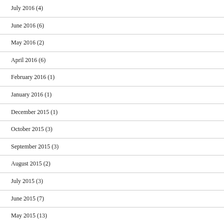July 2016 (4)
June 2016 (6)
May 2016 (2)
April 2016 (6)
February 2016 (1)
January 2016 (1)
December 2015 (1)
October 2015 (3)
September 2015 (3)
August 2015 (2)
July 2015 (3)
June 2015 (7)
May 2015 (13)
April 2015 (1)
March 2015 (1)
January 2015 (1)